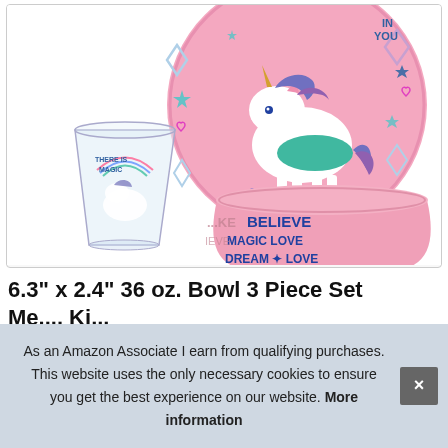[Figure (photo): Product photo of a 3-piece unicorn dinnerware set for kids: a pink plate with a unicorn illustration and stars/diamonds, a clear glass with a unicorn and rainbow, and a pink bowl with text BELIEVE MAGIC LOVE DREAM]
6.3" x 2.4" 36 oz. Bowl 3 Piece Set Me... Ki...
As an Amazon Associate I earn from qualifying purchases. This website uses the only necessary cookies to ensure you get the best experience on our website. More information